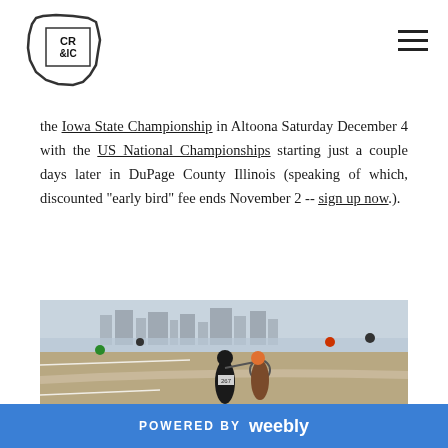[Figure (logo): CR & IC logo inside Iowa state outline shape]
the Iowa State Championship in Altoona Saturday December 4 with the US National Championships starting just a couple days later in DuPage County Illinois (speaking of which, discounted "early bird" fee ends November 2 -- sign up now.).
[Figure (photo): Cyclocross racers carrying bikes on a sandy course near a lake with city skyline in the background]
POWERED BY weebly